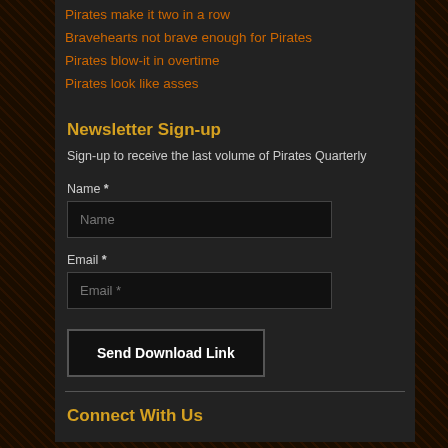Pirates make it two in a row
Bravehearts not brave enough for Pirates
Pirates blow-it in overtime
Pirates look like asses
Newsletter Sign-up
Sign-up to receive the last volume of Pirates Quarterly
Name *
Email *
Send Download Link
Connect With Us